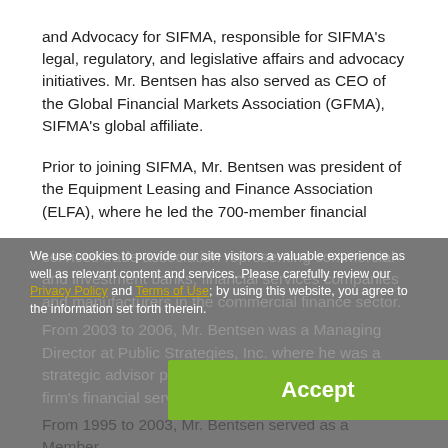and Advocacy for SIFMA, responsible for SIFMA's legal, regulatory, and legislative affairs and advocacy initiatives. Mr. Bentsen has also served as CEO of the Global Financial Markets Association (GFMA), SIFMA's global affiliate.
Prior to joining SIFMA, Mr. Bentsen was president of the Equipment Leasing and Finance Association (ELFA), where he led the 700-member financial services trade association representing commercial and investment banks, financial services companies and manufacturers in the commercial finance sector. From 2003 to 2006, Mr. Bentsen was a Managing Director at Public Strategies, Inc. where he was a strategic [advisor providing counsel principally] to the firm's [financial services clients].
We use cookies to provide our site visitors a valuable experience as well as relevant content and services. Please carefully review our Privacy Policy and Terms of Use; by using this website, you agree to the information set forth therein.
Accept
From 1995 to 2003, Mr. Bentsen served as a Member